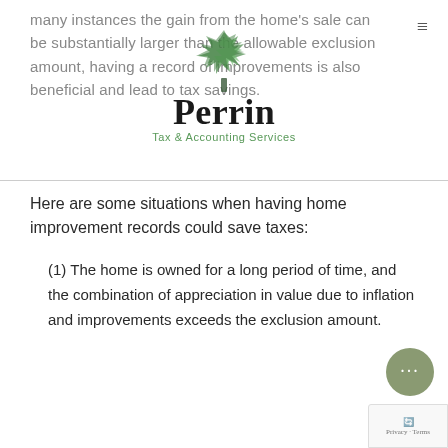many instances the gain from the home's sale can be substantially larger than the allowable exclusion amount, having a record of improvements is also beneficial and lead to tax savings.
[Figure (logo): Perrin Tax & Accounting Services logo with green tree graphic above the company name]
Here are some situations when having home improvement records could save taxes:
(1) The home is owned for a long period of time, and the combination of appreciation in value due to inflation and improvements exceeds the exclusion amount.